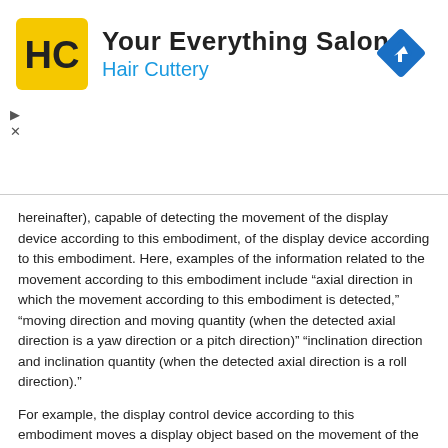[Figure (logo): Hair Cuttery advertisement banner. Shows HC logo in yellow square, text 'Your Everything Salon' and 'Hair Cuttery' in blue, with a blue navigation/directions diamond icon on the right.]
hereinafter), capable of detecting the movement of the display device according to this embodiment, of the display device according to this embodiment. Here, examples of the information related to the movement according to this embodiment include "axial direction in which the movement according to this embodiment is detected," "moving direction and moving quantity (when the detected axial direction is a yaw direction or a pitch direction)" "inclination direction and inclination quantity (when the detected axial direction is a roll direction)."
For example, the display control device according to this embodiment moves a display object based on the movement of the display device according to this embodiment as described above by performing the display control process according to this embodiment. Accordingly, when the display control device according to this embodiment performs the display control process according to this embodiment, it is possible to decrease the possibility of giving a user a feeling of discomfort which is caused since the user's field of view is blocked, as in the case in which a display object is displayed constantly at a fixed position on the display surface.